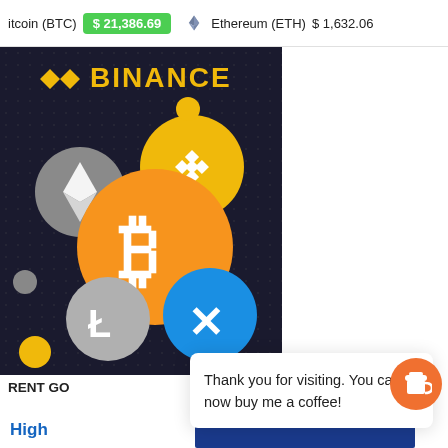Bitcoin (BTC) $21,386.69  Ethereum (ETH) $1,632.06
[Figure (illustration): Binance exchange promotional image showing Bitcoin (BTC), Ethereum (ETH), Binance Coin (BNB), Litecoin (LTC), and Ripple (XRP) cryptocurrency coin icons on a dark background with the Binance logo and wordmark at the top.]
RENT GO
Thank you for visiting. You can now buy me a coffee!
High